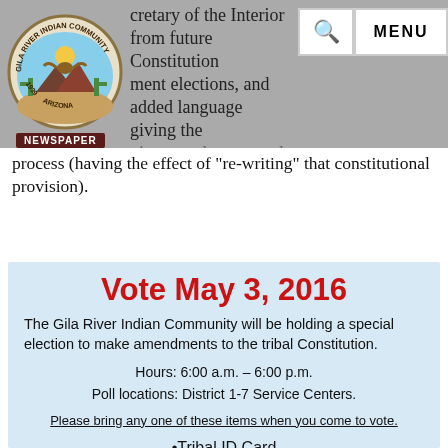cretary of the Interior from future Constitution amendment elections, and added language giving the community complete control over that election process (having the effect of "re-writing" that constitutional provision).
[Figure (logo): Gila River Indian Community seal/logo circle with eagle, mountains, and cactus imagery, with text 'GILA RIVER INDIAN COMMUNITY 1939 ARIZONA' around the border and 'NEWSPAPER' badge below]
process (having the effect of "re-writing" that constitutional provision).
Vote May 3, 2016
The Gila River Indian Community will be holding a special election to make amendments to the tribal Constitution.
Hours: 6:00 a.m. – 6:00 p.m.
Poll locations: District 1-7 Service Centers.
Please bring any one of these items when you come to vote.
Tribal ID Card
Arizona State ID Card
State Drivers License
For more information please call